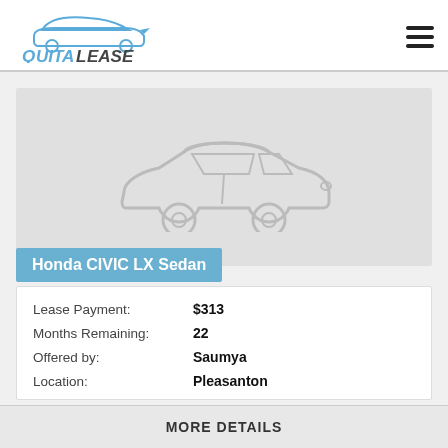[Figure (logo): QuitaLease logo with car silhouette icon above stylized text reading QuitaLease]
[Figure (illustration): Gray placeholder car silhouette (sedan) centered on light gray background]
Honda CIVIC LX Sedan
Lease Payment: $313
Months Remaining: 22
Offered by: Saumya
Location: Pleasanton
MORE DETAILS